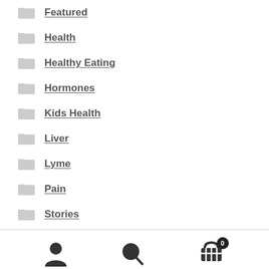Featured
Health
Healthy Eating
Hormones
Kids Health
Liver
Lyme
Pain
Stories
[Figure (screenshot): Navigation toolbar with user icon, search icon, and shopping cart icon with badge showing 0]
[Figure (screenshot): Search products input box and a gray rectangle to the right]